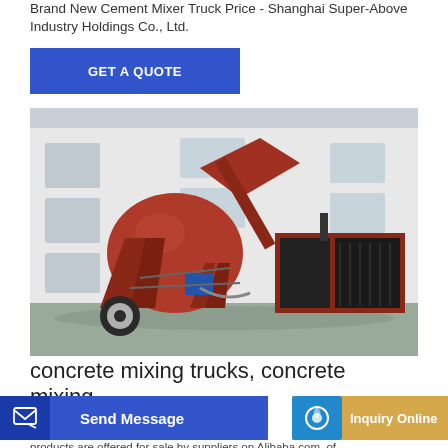Brand New Cement Mixer Truck Price - Shanghai Super-Above Industry Holdings Co., Ltd.
GET A QUOTE
[Figure (photo): A red cement mixer machine/truck with a large rotating drum and hopper, along with an attached diesel engine/power unit, parked outside a white industrial building.]
concrete mixing trucks, concrete mixing
Send Message
Inquiry Online
products are offered for sale by suppliers on Alibaba.com, of